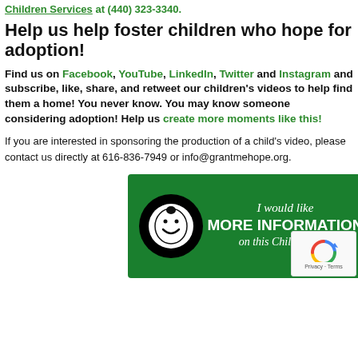Children Services at (440) 323-3340.
Help us help foster children who hope for adoption!
Find us on Facebook, YouTube, LinkedIn, Twitter and Instagram and subscribe, like, share, and retweet our children's videos to help find them a home! You never know. You may know someone considering adoption! Help us create more moments like this!
If you are interested in sponsoring the production of a child's video, please contact us directly at 616-836-7949 or info@grantmehope.org.
[Figure (illustration): Green banner button with a smiley face child logo on the left and text 'I would like MORE INFORMATION on this Child!' with a green arrow pointing left.]